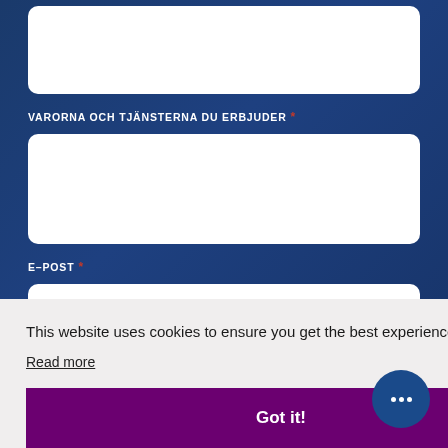VARORNA OCH TJÄNSTERNA DU ERBJUDER *
E–POST *
This website uses cookies to ensure you get the best experience on our website.
Read more
Got it!